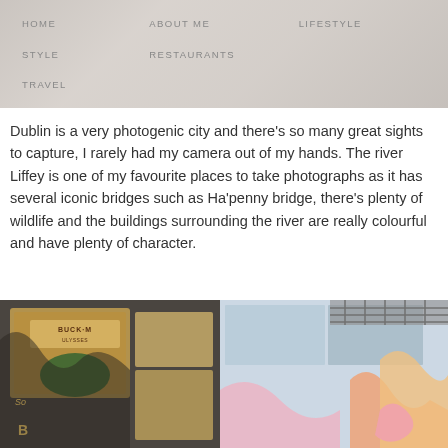[Figure (photo): Navigation menu overlaid on a blurred/faded background photograph showing a person, with menu items: HOME, ABOUT ME, LIFESTYLE, STYLE, RESTAURANTS, TRAVEL]
Dublin is a very photogenic city and there's so many great sights to capture, I rarely had my camera out of my hands. The river Liffey is one of my favourite places to take photographs as it has several iconic bridges such as Ha'penny bridge, there's plenty of wildlife and the buildings surrounding the river are really colourful and have plenty of character.
[Figure (photo): Street art murals on building walls in Dublin. Left side shows a comic-book style mural with 'BUCK-M ULYSSES' text and illustrated characters. Right side shows a pastel-colored mural with abstract figures and bubbles.]